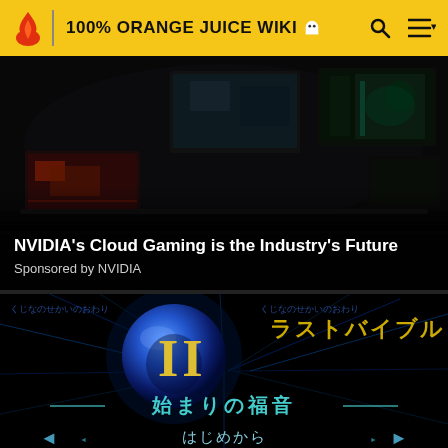100% ORANGE JUICE WIKI
[Figure (screenshot): NVIDIA Cloud Gaming promotional image showing multiple gaming monitors with dark scenes from various games]
NVIDIA's Cloud Gaming is the Industry's Future
Sponsored by NVIDIA
[Figure (screenshot): Japanese game title screen showing a blue orb with Roman numeral II, Japanese text reading ラストバイブル (Last Bible), 始まりの福音 (Gospel of the Beginning), and はじめから (From the beginning) with navigation arrows]